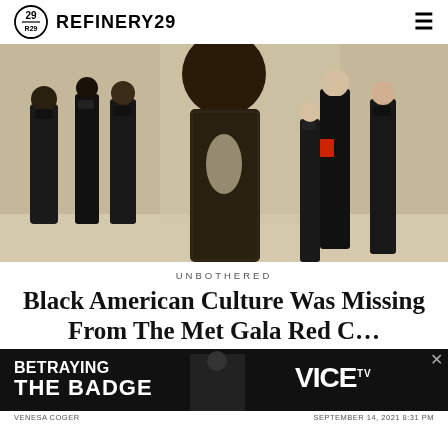REFINERY29
[Figure (photo): People wearing black clothing and face masks at what appears to be a red carpet event. A central figure in a sparkly dark backless gown is turned away from camera. Several other people in black attire stand in the background.]
UNBOTHERED
Black American Culture Was Missing From The Met Gala Red C...
[Figure (photo): Advertisement banner for VICE TV show 'Betraying The Badge'. Dark background with white text and the VICE TV logo.]
VENESA COGER   SEPTEMBER 14, 2021  8:31 PM